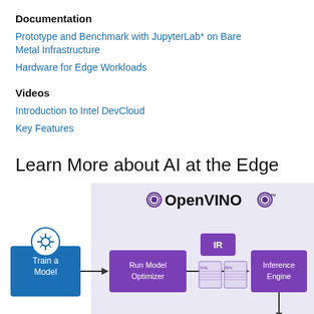Documentation
Prototype and Benchmark with JupyterLab* on Bare Metal Infrastructure
Hardware for Edge Workloads
Videos
Introduction to Intel DevCloud
Key Features
Learn More about AI at the Edge
[Figure (infographic): OpenVINO workflow diagram showing: Train a Model (blue box with star icon) -> Run Model Optimizer (purple box) -> IR (purple box) with XML/BIN file icons -> Inference Engine (purple box), all on a light purple background with OpenVINO logo at top]